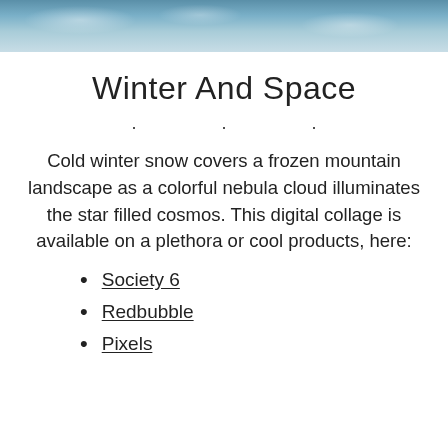[Figure (photo): A frozen water/ocean surface with blue and white tones, serving as a header image.]
Winter And Space
· · ·
Cold winter snow covers a frozen mountain landscape as a colorful nebula cloud illuminates the star filled cosmos. This digital collage is available on a plethora or cool products, here:
Society 6
Redbubble
Pixels